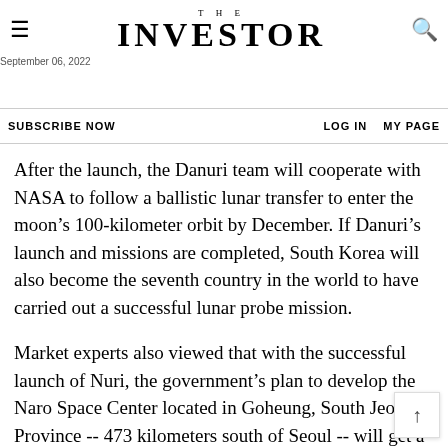THE INVESTOR
September 06, 2022
SUBSCRIBE NOW   LOG IN   MY PAGE
After the launch, the Danuri team will cooperate with NASA to follow a ballistic lunar transfer to enter the moon’s 100-kilometer orbit by December. If Danuri’s launch and missions are completed, South Korea will also become the seventh country in the world to have carried out a successful lunar probe mission.
Market experts also viewed that with the successful launch of Nuri, the government’s plan to develop the Naro Space Center located in Goheung, South Jeolla Province -- 473 kilometers south of Seoul -- will get a boost.